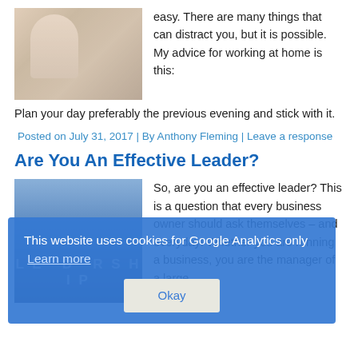[Figure (photo): Woman in white coat writing at desk with baby nearby]
easy. There are many things that can distract you, but it is possible. My advice for working at home is this: Plan your day preferably the previous evening and stick with it.
Posted on July 31, 2017 | By Anthony Fleming | Leave a response
Are You An Effective Leader?
[Figure (photo): Leadership themed image with word LEADERSHIP in background]
So, are you an effective leader? This is a question that every business owner should ask themselves – and everyday! Whether you are running a business, you are the manager of a large
This website uses cookies for Google Analytics only  Learn more